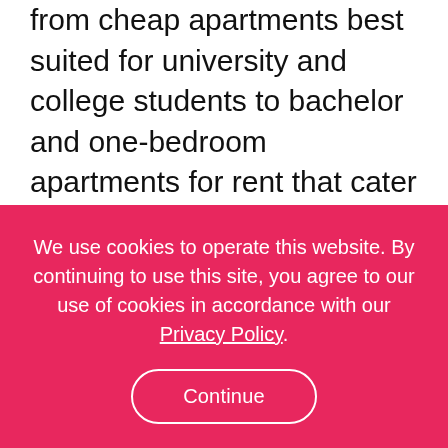from cheap apartments best suited for university and college students to bachelor and one-bedroom apartments for rent that cater to young professionals and first time renters and to high-end luxury apartments and condos nestled in the most desirable areas and cost thousands of dollars a month. Apartment leases in the United States generally run for a single calendar year, but longer-terms are available. When searching for an apartment for rent in the United States, prospective tenants (especially students and other first time renters) are encouraged to do their research before committing to a lease. With many good-quality apartments for rent available across the United States, prospective tenants are sure to find something that meets their wish list and
We use cookies to operate this website. By continuing to use this site, you agree to our use of cookies in accordance with our Privacy Policy.
Continue